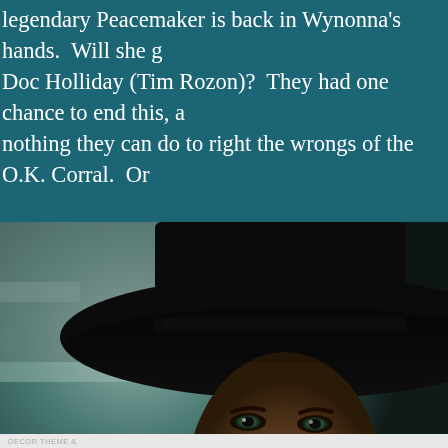legendary Peacemaker is back in Wynonna's hands.  Will she g Doc Holliday (Tim Rozon)?  They had one chance to end this, a nothing they can do to right the wrongs of the O.K. Corral.  Or

Last summer ended with a death and a proposal, and Doc walk Wynonna just too much like her legendary almost-namesake? So what next?
[Figure (photo): Close-up of a man wearing a wide-brimmed black cowboy hat, low over his face, with only his intense eyes visible below the brim. Indoor/studio background visible behind him.]
Advertisements
Launch your online course with WordPress
Learn More